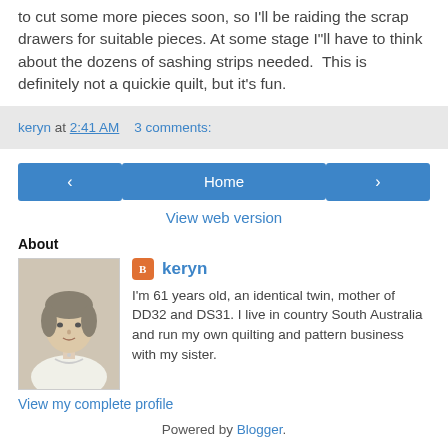to cut some more pieces soon, so I'll be raiding the scrap drawers for suitable pieces. At some stage I"ll have to think about the dozens of sashing strips needed.  This is definitely not a quickie quilt, but it's fun.
keryn at 2:41 AM   3 comments:
‹  Home  ›  View web version
About
[Figure (photo): Profile photo of a young woman, black and white portrait]
keryn
I'm 61 years old, an identical twin, mother of DD32 and DS31. I live in country South Australia and run my own quilting and pattern business with my sister.
View my complete profile
Powered by Blogger.